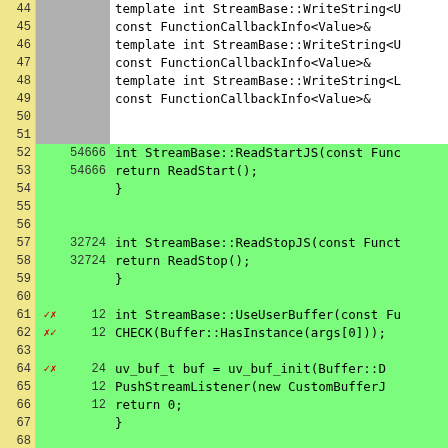[Figure (screenshot): Code coverage view showing C++ source lines 44-70 with line numbers, coverage marks (checkmarks and X marks in red), hit counts, and code content. Covered lines are highlighted green, uncovered lines are white or gray.]